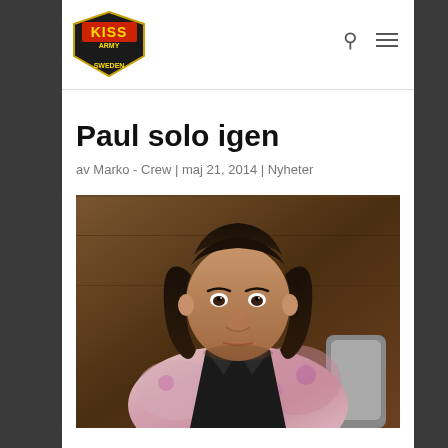[Figure (logo): KISS Army Sweden logo — shield shape with KISS text in red/yellow on dark background]
Paul solo igen
av Marko - Crew | maj 21, 2014 | Nyheter
[Figure (photo): Man with long dark curly hair wearing a floral patterned shirt and black vest, seated, looking at camera with neutral expression]